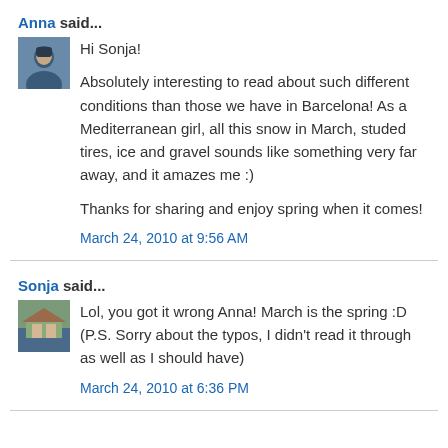Anna said...
Hi Sonja!

Absolutely interesting to read about such different conditions than those we have in Barcelona! As a Mediterranean girl, all this snow in March, studed tires, ice and gravel sounds like something very far away, and it amazes me :)

Thanks for sharing and enjoy spring when it comes!
March 24, 2010 at 9:56 AM
Sonja said...
Lol, you got it wrong Anna! March is the spring :D (P.S. Sorry about the typos, I didn't read it through as well as I should have)
March 24, 2010 at 6:36 PM